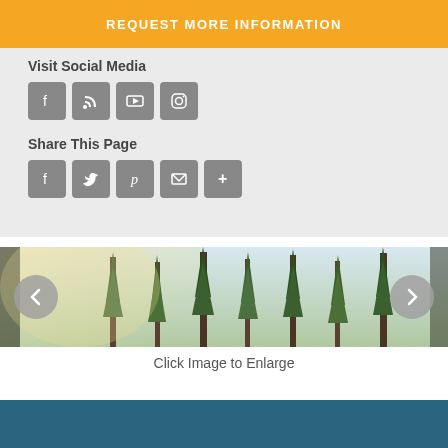REQUEST MORE INFORMATION
Visit Social Media
[Figure (illustration): Row of four social media icon buttons: Facebook, RSS feed, YouTube, Instagram]
Share This Page
[Figure (illustration): Row of five share buttons: Facebook, Twitter, Pinterest, Email, More (+)]
[Figure (photo): Forest/trees landscape image in a sliding carousel with left and right navigation arrows]
Click Image to Enlarge